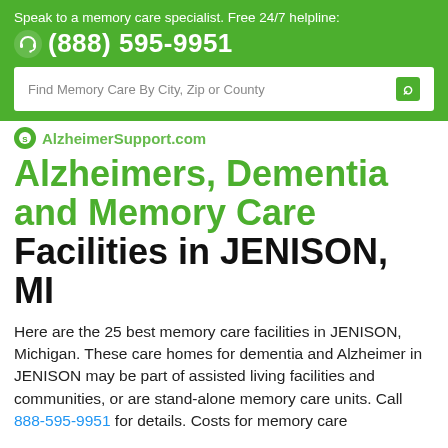Speak to a memory care specialist. Free 24/7 helpline: (888) 595-9951
[Figure (screenshot): Search bar with placeholder text 'Find Memory Care By City, Zip or County' and a search icon on green background]
AlzheimerSupport.com
Alzheimers, Dementia and Memory Care Facilities in JENISON, MI
Here are the 25 best memory care facilities in JENISON, Michigan. These care homes for dementia and Alzheimer in JENISON may be part of assisted living facilities and communities, or are stand-alone memory care units. Call 888-595-9951 for details. Costs for memory care